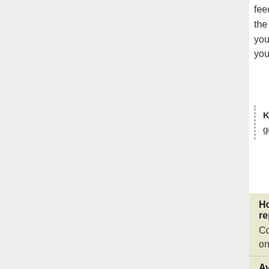feed easily as soon as they leave the nest, although they begin to feed on the surface of the water. Within about 8 days, the female may abandon the young before they learn to fly, usually 30 to 50 days old, they can fend for young after being abandoned; mixed broods of m
Key Reproductive Features: iteroparous ; s gonoChoric/gonochoristic/dioecious (sexes se
| How often does reproduction occur? | Breeding sea |
| --- | --- |
| Common mergansers breed once yearly. | Breeding oc June each y |
| Average eggs per season
8-12 | Average egg
10
AnAge |
| Range fledging age
60 to 85 days | Average time independenc
30-50 days |
| Range age at sexual or |  |